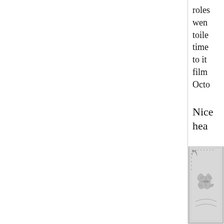roles went toile time to it film Octo
Nice hea
[Figure (illustration): Decorative ornamental frame with floral/vine motifs in grayscale, partially visible in bottom-right corner]